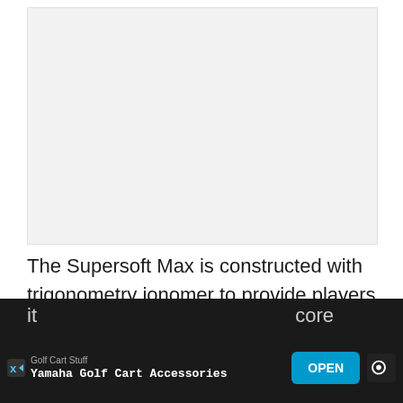[Figure (photo): Blank/placeholder image area, light gray background]
The Supersoft Max is constructed with trigonometry ionomer to provide players with a very soft-feeling but firm golf ball that is also
it ... core
a ... ver
[Figure (other): Advertisement banner: Golf Cart Stuff — Yamaha Golf Cart Accessories — OPEN button]